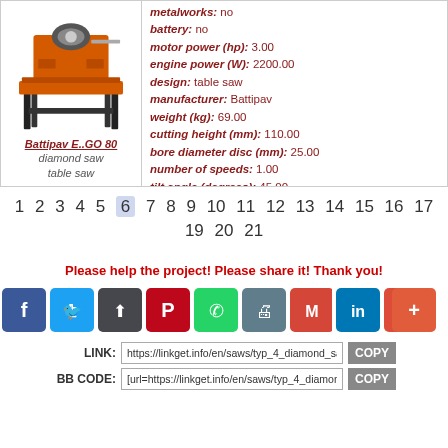[Figure (photo): Photo of an orange Battipav E..GO 80 diamond saw table saw mounted on black metal legs]
Battipav E..GO 80
diamond saw
table saw
metalworks: no
battery: no
motor power (hp): 3.00
engine power (W): 2200.00
design: table saw
manufacturer: Battipav
weight (kg): 69.00
cutting height (mm): 110.00
bore diameter disc (mm): 25.00
number of speeds: 1.00
tilt angle (degrees): 45.00
disk diameter (mm): 350.00
more information
1 2 3 4 5 6 7 8 9 10 11 12 13 14 15 16 17
19 20 21
Please help the project! Please share it! Thank you!
LINK: https://linkget.info/en/saws/typ_4_diamond_saw_  COPY
BB CODE: [url=https://linkget.info/en/saws/typ_4_diamond_s  COPY